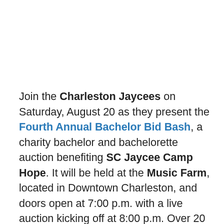Join the Charleston Jaycees on Saturday, August 20 as they present the Fourth Annual Bachelor Bid Bash, a charity bachelor and bachelorette auction benefiting SC Jaycee Camp Hope. It will be held at the Music Farm, located in Downtown Charleston, and doors open at 7:00 p.m. with a live auction kicking off at 8:00 p.m. Over 20 bachelors and bachelorettes, complete with date packages, will be auctioned off by famed auctioneer Craig Simmons. To see a complete list of bachelors and bachelorettes, click here. Tickets are $30 each or two for